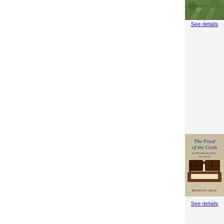[Figure (photo): Outdoor nature/garden scene photo thumbnail in top-right corner]
See details
[Figure (illustration): Book cover: 'The Food of the Gods - A Popular Account of Cocoa' by Brandon Head, with chocolate bar image]
See details